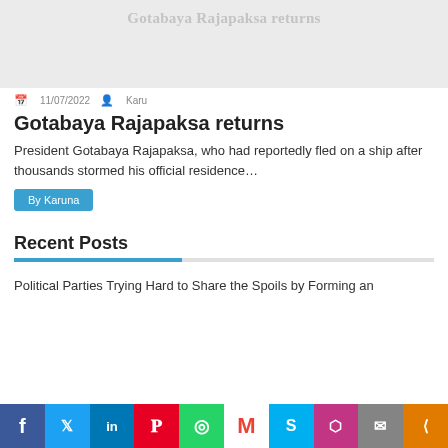[Figure (photo): Gray placeholder image with faded text 'Gotabaya Rajapaksa returns' at top]
11/07/2022  Karu
Gotabaya Rajapaksa returns
President Gotabaya Rajapaksa, who had reportedly fled on a ship after thousands stormed his official residence...
By Karuna
Recent Posts
Political Parties Trying Hard to Share the Spoils by Forming an